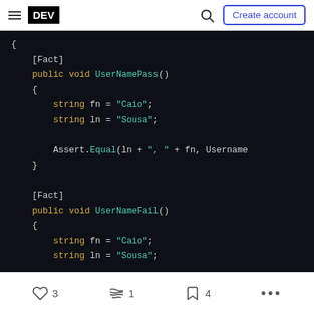DEV | Create account
[Figure (screenshot): Dark-themed code block showing C# unit test methods UserNamePass() and UserNameFail() with [Fact] attributes, string assignments for fn='Caio' and ln='Sousa', and Assert.Equal call]
3 likes · 1 unicorn · 4 bookmarks